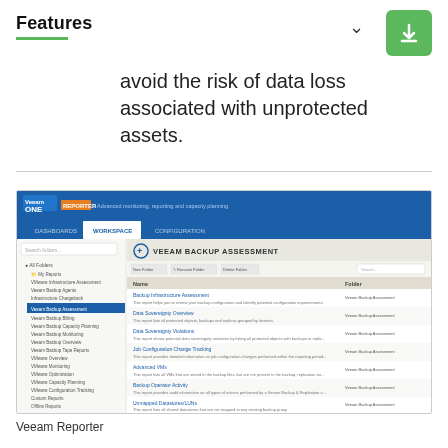Features
avoid the risk of data loss associated with unprotected assets.
[Figure (screenshot): Veeam ONE Reporter interface showing the Workspace tab with Veeam Backup Assessment panel. The left pane shows a folder tree including All Folders, My Reports, VMware Infrastructure Assessment, Veeam Backup Agents, Infrastructure Chargeback, Veeam Backup Assessment (highlighted), Veeam Backup Billing, Veeam Backup Capacity Planning, Veeam Backup Monitoring, Veeam Backup Overview, Veeam Backup Tape Reports, VMware Overview, VMware Monitoring, VMware Optimization, VMware Capacity Planning, VMware Configuration Tracking, Custom Reports, Offline Reports, All Deployment Projects, User Reports. The right pane shows Veeam Backup Assessment reports list with columns Name and Folder, listing Backup Infrastructure Assessment, Data Sovereignty Overview, Data Sovereignty Violations, Job Configuration Change Tracking, Advanced VMs, Backup Operator Activity, Unmapped Datastores/LUNs.]
Veeam Reporter